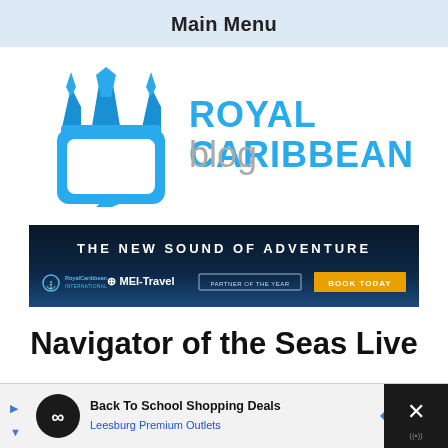Main Menu
[Figure (logo): Royal Caribbean Blog logo: blue trident/crown icon with chat bubble and text 'ROYAL CARIBBEANblog']
[Figure (infographic): Royal Caribbean / MEI-Travel advertisement banner: 'THE NEW SOUND OF ADVENTURE' with 'BOOK TODAY' button]
Navigator of the Seas Live
[Figure (infographic): Bottom ad bar: Back To School Shopping Deals - Leesburg Premium Outlets, with navigation and close buttons]